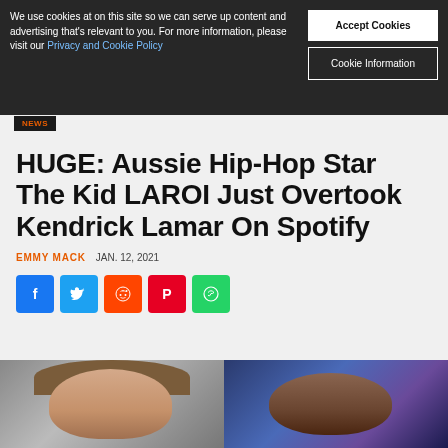We use cookies at on this site so we can serve up content and advertising that's relevant to you. For more information, please visit our Privacy and Cookie Policy
Accept Cookies
Cookie Information
NEWS
HUGE: Aussie Hip-Hop Star The Kid LAROI Just Overtook Kendrick Lamar On Spotify
EMMY MACK   JAN. 12, 2021
[Figure (other): Social share buttons: Facebook, Twitter, Reddit, Pinterest, WhatsApp]
[Figure (photo): Split photo showing two artists: The Kid LAROI on the left (lighter background) and Kendrick Lamar on the right (blue/purple stage lighting)]